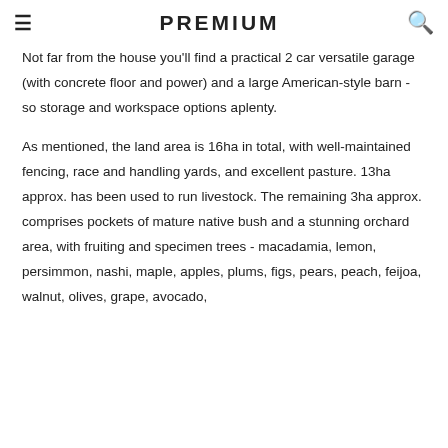≡  PREMIUM  🔍
Not far from the house you'll find a practical 2 car versatile garage (with concrete floor and power) and a large American-style barn - so storage and workspace options aplenty.
As mentioned, the land area is 16ha in total, with well-maintained fencing, race and handling yards, and excellent pasture. 13ha approx. has been used to run livestock. The remaining 3ha approx. comprises pockets of mature native bush and a stunning orchard area, with fruiting and specimen trees - macadamia, lemon, persimmon, nashi, maple, apples, plums, figs, pears, peach, feijoa, walnut, olives, grape, avocado,